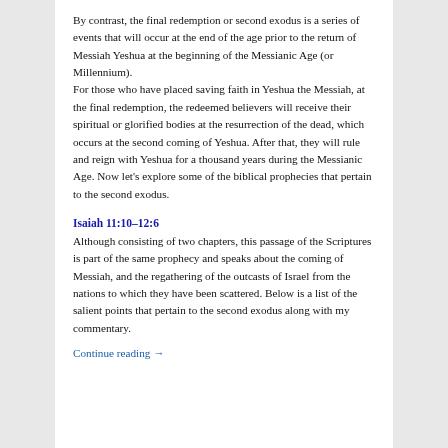By contrast, the final redemption or second exodus is a series of events that will occur at the end of the age prior to the return of Messiah Yeshua at the beginning of the Messianic Age (or Millennium).
For those who have placed saving faith in Yeshua the Messiah, at the final redemption, the redeemed believers will receive their spiritual or glorified bodies at the resurrection of the dead, which occurs at the second coming of Yeshua. After that, they will rule and reign with Yeshua for a thousand years during the Messianic Age. Now let's explore some of the biblical prophecies that pertain to the second exodus.
Isaiah 11:10–12:6
Although consisting of two chapters, this passage of the Scriptures is part of the same prophecy and speaks about the coming of Messiah, and the regathering of the outcasts of Israel from the nations to which they have been scattered. Below is a list of the salient points that pertain to the second exodus along with my commentary.
Continue reading →